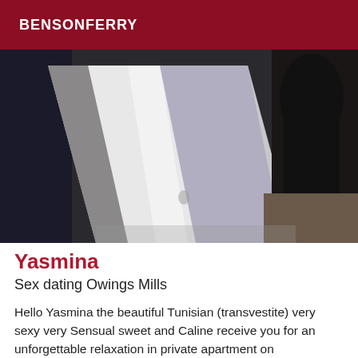BENSONFERRY
[Figure (photo): Dark, blurry interior photograph showing what appears to be a door or wall panel with diagonal light and shadow, dark figure partially visible in upper right corner]
Yasmina
Sex dating Owings Mills
Hello Yasmina the beautiful Tunisian (transvestite) very sexy very Sensual sweet and Caline receive you for an unforgettable relaxation in private apartment on